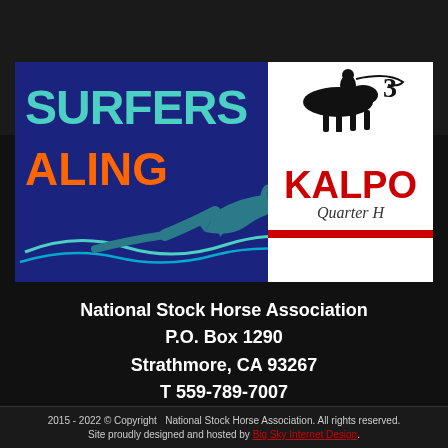[Figure (logo): Two sponsor logos side by side on a dark blue background: left is 'Surfers Healing' with teal/orange text and dolphin wave graphic; right is 'Kalpo Quarter Horses' with red text and black horse/rider silhouette on white background]
National Stock Horse Association
P.O. Box 1290
Strathmore, CA 93267
T 559-789-7007
F 866-858-0957
nationalstockhorse@gmail.com
2015 - 2022 © Copyright  National Stock Horse Association. All rights reserved.
Site proudly designed and hosted by Big Sky Internet Design.